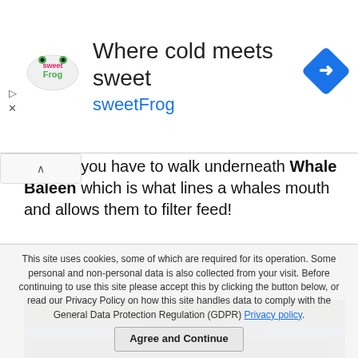[Figure (illustration): sweetFrog frozen yogurt advertisement banner. Logo on left showing 'sweetFrog' text in pink/green. Headline 'Where cold meets sweet' in large text. 'sweetFrog' in blue below. Blue diamond navigation arrow icon on right.]
oom as you have to walk underneath Whale Baleen which is what lines a whales mouth and allows them to filter feed!
[Figure (photo): Interior museum photo showing taxidermied animal head (moose or elk) from below, with antlers visible, and rifle/gun displays on walls in background.]
This site uses cookies, some of which are required for its operation. Some personal and non-personal data is also collected from your visit. Before continuing to use this site please accept this by clicking the button below, or read our Privacy Policy on how this site handles data to comply with the General Data Protection Regulation (GDPR) Privacy policy. Agree and Continue